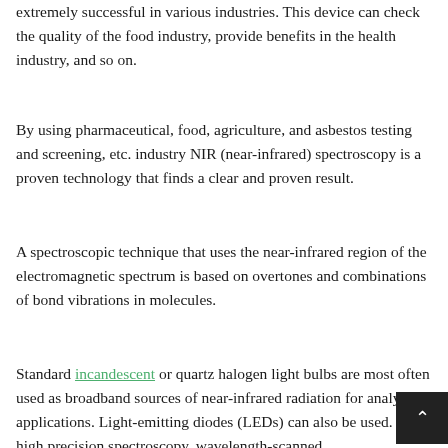extremely successful in various industries. This device can check the quality of the food industry, provide benefits in the health industry, and so on.
By using pharmaceutical, food, agriculture, and asbestos testing and screening, etc. industry NIR (near-infrared) spectroscopy is a proven technology that finds a clear and proven result.
A spectroscopic technique that uses the near-infrared region of the electromagnetic spectrum is based on overtones and combinations of bond vibrations in molecules.
Standard incandescent or quartz halogen light bulbs are most often used as broadband sources of near-infrared radiation for analytical applications. Light-emitting diodes (LEDs) can also be used. For high precision spectroscopy, wavelength-scanned